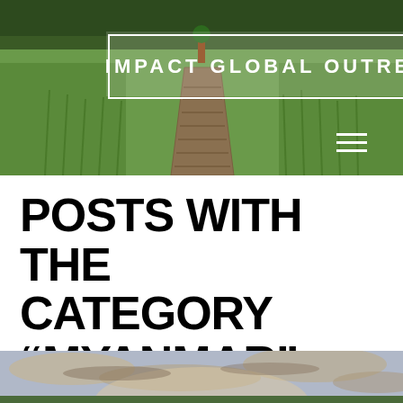[Figure (photo): Header image showing a wooden boardwalk path through green rice fields with trees in background]
IMPACT GLOBAL OUTRE
POSTS WITH THE CATEGORY “MYANMAR”
[Figure (photo): Bottom image showing a dramatic sky with clouds at sunset or sunrise]